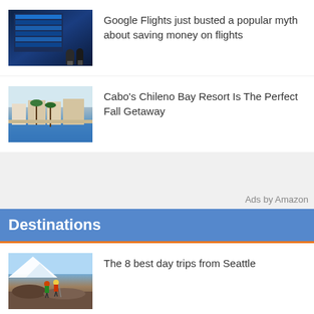[Figure (photo): Two people with luggage looking at airport departure boards]
Google Flights just busted a popular myth about saving money on flights
[Figure (photo): Cabo's Chileno Bay Resort poolside with palm trees]
Cabo's Chileno Bay Resort Is The Perfect Fall Getaway
Ads by Amazon
Destinations
[Figure (photo): Two hikers on rocky terrain with snowy mountain behind]
The 8 best day trips from Seattle
[Figure (photo): Partial thumbnail of another article]